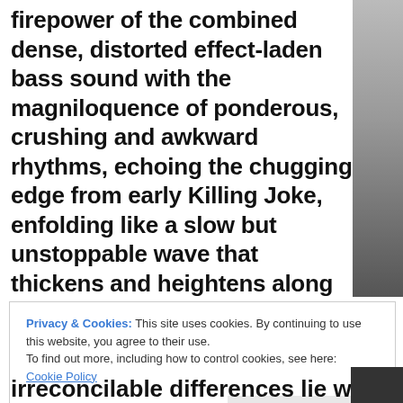firepower of the combined dense, distorted effect-laden bass sound with the magniloquence of ponderous, crushing and awkward rhythms, echoing the chugging edge from early Killing Joke, enfolding like a slow but unstoppable wave that thickens and heightens along the tracks, lit by penetrating lush, ethereal guitar strings and sparse bright synth flourishes, over anguished and haunting vocalizations steeped in glum and depressed moods.
Privacy & Cookies: This site uses cookies. By continuing to use this website, you agree to their use.
To find out more, including how to control cookies, see here:
Cookie Policy
irreconcilable differences lie within the hea...